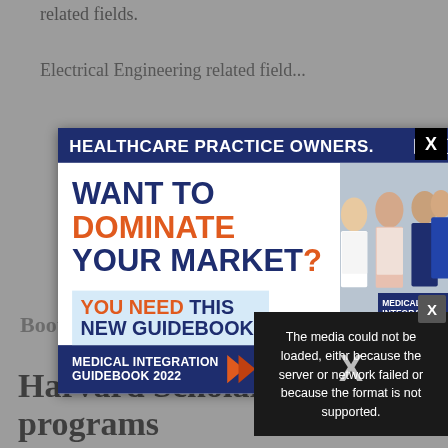related fields.
Electrical Engineering related fields
[Figure (screenshot): Advertisement popup for AMI Medical Integration Guidebook 2022, overlaying a webpage. The ad headline reads 'WANT TO DOMINATE YOUR MARKET? YOU NEED THIS NEW GUIDEBOOK!' with a photo of healthcare professionals and the AMI logo. A video error tooltip reads 'The media could not be loaded, either because the server or network failed or because the format is not supported.']
Harvard Scholarship programs